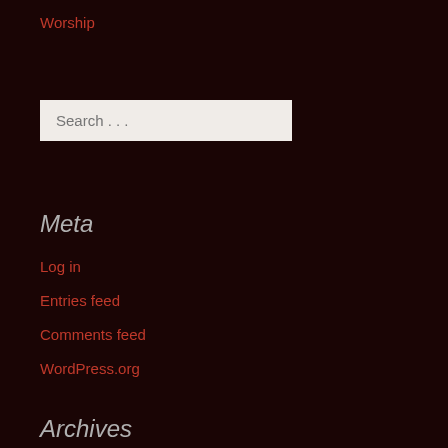Worship
[Figure (other): Search input box with placeholder text 'Search ...']
Meta
Log in
Entries feed
Comments feed
WordPress.org
Archives